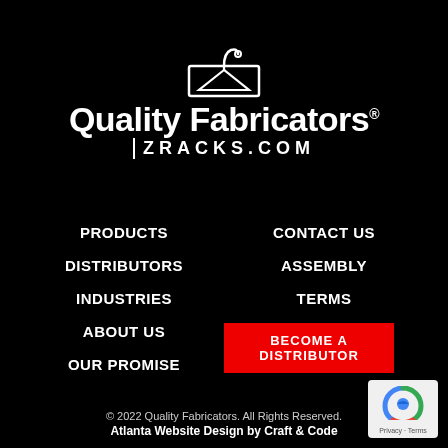[Figure (logo): Quality Fabricators ZRACKS.COM logo with clothes hanger icon above the text on a black background]
PRODUCTS
CONTACT US
DISTRIBUTORS
ASSEMBLY
INDUSTRIES
TERMS
ABOUT US
BECOME A DISTRIBUTOR
OUR PROMISE
© 2022 Quality Fabricators. All Rights Reserved. Atlanta Website Design by Craft & Code